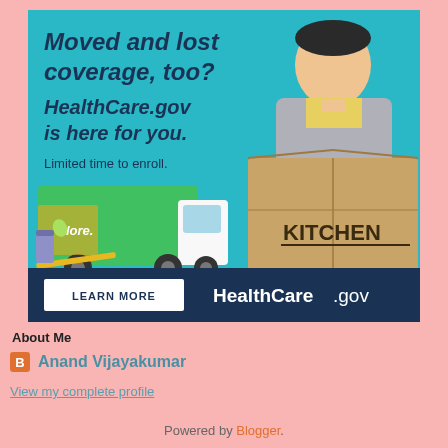[Figure (illustration): HealthCare.gov advertisement banner with teal background. Shows a man holding a cardboard box labeled KITCHEN, a moving truck illustration, text reading 'Moved and lost coverage, too? HealthCare.gov is here for you. Limited time to enroll.' with LEARN MORE button and HealthCare.gov logo on dark navy bottom bar.]
About Me
Anand Vijayakumar
View my complete profile
Powered by Blogger.